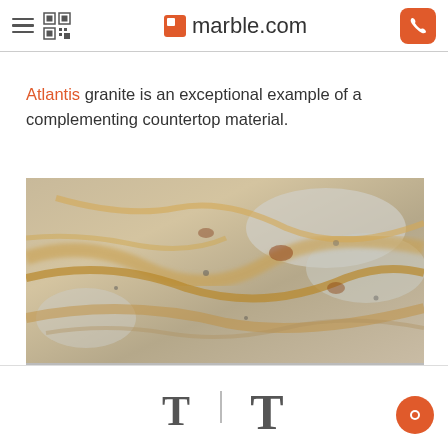marble.com
Atlantis granite is an exceptional example of a complementing countertop material.
[Figure (photo): Close-up photograph of Atlantis granite slab showing swirling patterns of golden brown, cream, and grey tones with natural stone veining.]
Text size controls